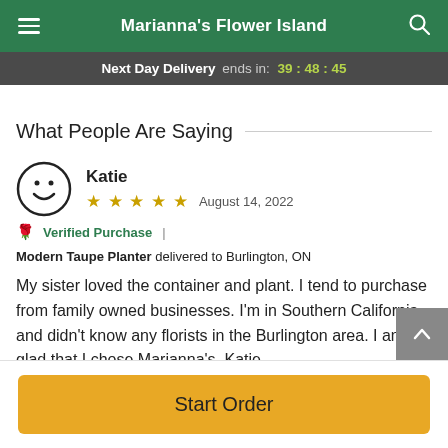Marianna's Flower Island
Next Day Delivery ends in: 39:48:45
What People Are Saying
Katie
★★★★★  August 14, 2022
Verified Purchase | Modern Taupe Planter delivered to Burlington, ON
My sister loved the container and plant. I tend to purchase from family owned businesses. I'm in Southern California and didn't know any florists in the Burlington area. I am so glad that I chose Marianna's. Katie
Start Order